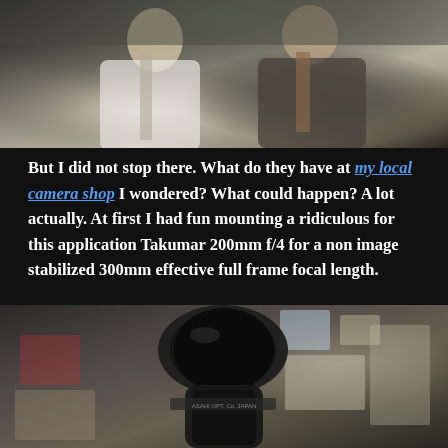[Figure (photo): Two men standing outdoors, one in a white dress shirt with a tie, the other in a dark suit with a tie holding a bag]
But I did not stop there. What do they have at my local camera shop I wondered? What could happen? A lot actually. At first I had fun mounting a ridiculous for this application Takumar 200mm f/4 for a non image stabilized 300mm effective full frame focal length.
[Figure (photo): Close-up of a Takumar 200mm f/4 camera lens mounted, set in a cluttered camera shop with boxes and accessories in the background]